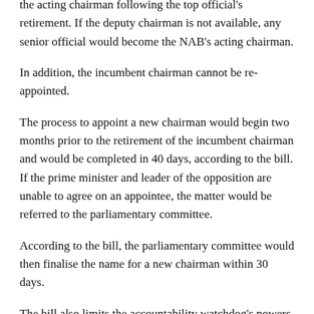the acting chairman following the top official's retirement. If the deputy chairman is not available, any senior official would become the NAB's acting chairman.
In addition, the incumbent chairman cannot be re-appointed.
The process to appoint a new chairman would begin two months prior to the retirement of the incumbent chairman and would be completed in 40 days, according to the bill. If the prime minister and leader of the opposition are unable to agree on an appointee, the matter would be referred to the parliamentary committee.
According to the bill, the parliamentary committee would then finalise the name for a new chairman within 30 days.
The bill also limits the accountability watchdog's powers, removing federal and provincial tax matters from its domain as well as financial irregularities in any development project. In addition, the NAB would not be able to take action on any